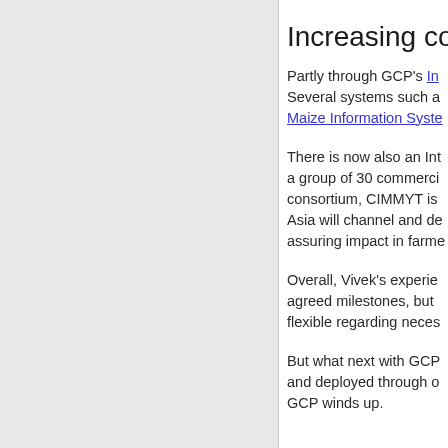Increasing co
Partly through GCP's In Several systems such a Maize Information Syste
There is now also an Int a group of 30 commerci consortium, CIMMYT is Asia will channel and de assuring impact in farme
Overall, Vivek's experie agreed milestones, but flexible regarding neces
But what next with GCP and deployed through o GCP winds up.